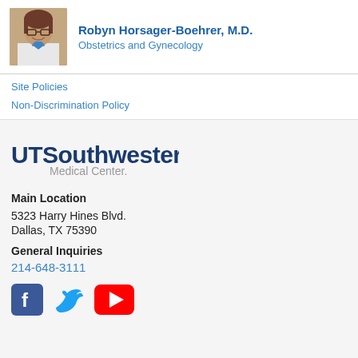[Figure (photo): Headshot of Dr. Robyn Horsager-Boehrer, a woman with brown hair and glasses wearing a white coat, smiling]
Robyn Horsager-Boehrer, M.D.
Obstetrics and Gynecology
Site Policies
Non-Discrimination Policy
[Figure (logo): UT Southwestern Medical Center logo — bold dark blue 'UTSouthwestern' with gray 'Medical Center.' below]
Main Location
5323 Harry Hines Blvd.
Dallas, TX 75390
General Inquiries
214-648-3111
[Figure (infographic): Social media icons: Facebook (blue square with f), Twitter (blue bird), YouTube (red rectangle with play button)]